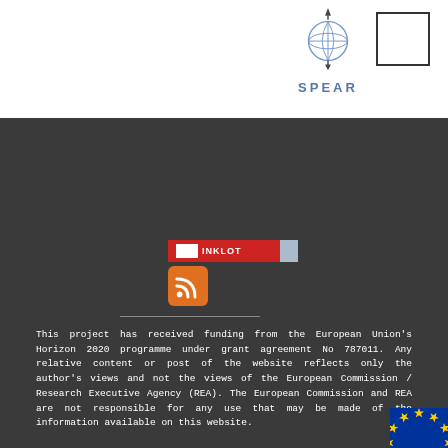[Figure (logo): SPEAR project logo with globe icon, arrow above and below, and SPEAR text in blue]
[Figure (logo): Empty box outline top right]
[Figure (logo): RSS feed orange icon]
This project has received funding from the European Union's Horizon 2020 programme under grant agreement No 787011. Any relative content or post of the website reflects only the author's views and not the views of the European Commission / Research Executive Agency (REA). The European Commission and REA are not responsible for any use that may be made of the information available on this website.
[Figure (logo): European Union flag - blue background with yellow stars in circle]
To the memory of the SPEAR's Project Officer Nikos Panagiotarakis who passed away on 25th of June 2021.